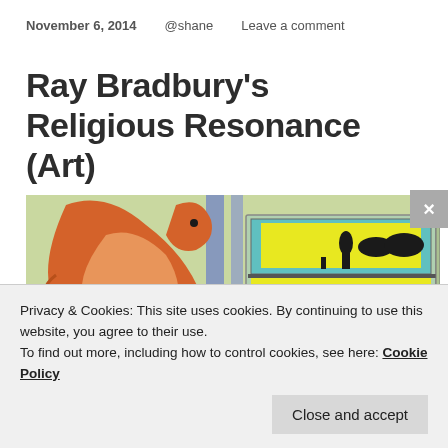November 6, 2014   @shane   Leave a comment
Ray Bradbury's Religious Resonance (Art)
[Figure (illustration): Colored pencil drawing showing a large orange/red bird or creature with a cross symbol on its body, standing in front of a multi-level display or ark with silhouettes of animals and people on yellow-lit panels, on a green background.]
Privacy & Cookies: This site uses cookies. By continuing to use this website, you agree to their use.
To find out more, including how to control cookies, see here: Cookie Policy
Close and accept